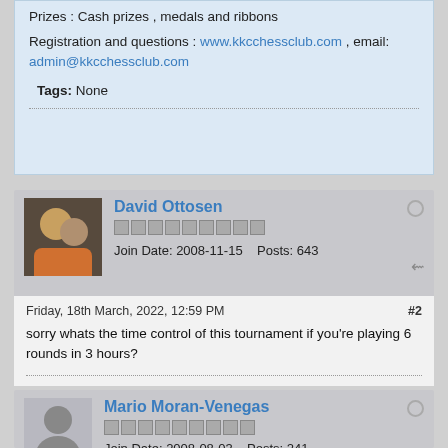Prizes : Cash prizes , medals and ribbons
Registration and questions : www.kkcchessclub.com , email: admin@kkcchessclub.com
Tags: None
David Ottosen
Join Date: 2008-11-15    Posts: 643
Friday, 18th March, 2022, 12:59 PM   #2
sorry whats the time control of this tournament if you're playing 6 rounds in 3 hours?
Mario Moran-Venegas
Join Date: 2008-08-03    Posts: 241